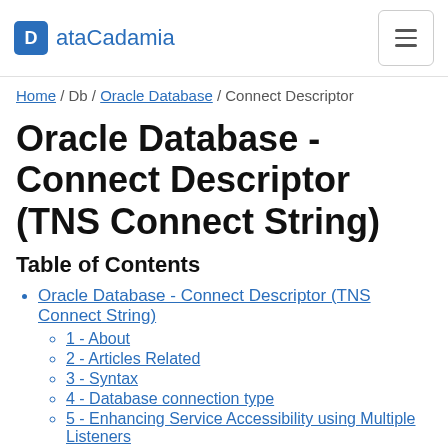ataCadamia
Home / Db / Oracle Database / Connect Descriptor
Oracle Database - Connect Descriptor (TNS Connect String)
Table of Contents
Oracle Database - Connect Descriptor (TNS Connect String)
1 - About
2 - Articles Related
3 - Syntax
4 - Database connection type
5 - Enhancing Service Accessibility using Multiple Listeners